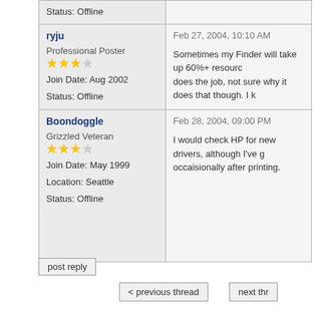| User | Post |
| --- | --- |
| Status: Offline |  |
| ryju
Professional Poster
★★★☆
Join Date: Aug 2002
Status: Offline | Feb 27, 2004, 10:10 AM
Sometimes my Finder will take up 60%+ resourc... does the job, not sure why it does that though. I k... |
| Boondoggle
Grizzled Veteran
★★★☆
Join Date: May 1999
Location: Seattle
Status: Offline | Feb 28, 2004, 09:00 PM
I would check HP for new drivers, although I've g... occaisionally after printing. |
post reply
< previous thread
next thr...